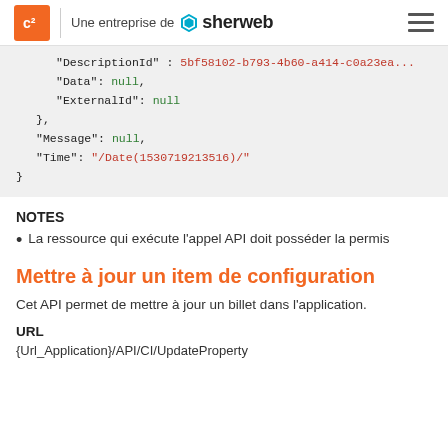Une entreprise de sherweb
[Figure (screenshot): JSON code block showing DescriptionId, Data: null, ExternalId: null, Message: null, Time: /Date(1530719213516)/]
NOTES
La ressource qui exécute l'appel API doit posséder la permis
Mettre à jour un item de configuration
Cet API permet de mettre à jour un billet dans l'application.
URL
{Url_Application}/API/CI/UpdateProperty